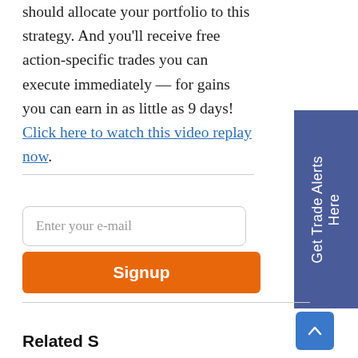indices are best for iron condors and how you should allocate your portfolio to this strategy. And you’ll receive free action-specific trades you can execute immediately — for gains you can earn in as little as 9 days! Click here to watch this video replay now.
[Figure (other): Blue sidebar tab with white rotated text reading 'Get Trade Alerts Here']
Enter your e-mail
Signup
[Figure (other): Blue scroll-to-top button with upward chevron arrow]
Related S...